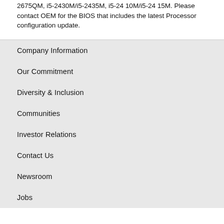2675QM, i5-2430M/i5-2435M, i5-2410M/i5-2415M. Please contact OEM for the BIOS that includes the latest Processor configuration update.
Company Information
Our Commitment
Diversity & Inclusion
Communities
Investor Relations
Contact Us
Newsroom
Jobs